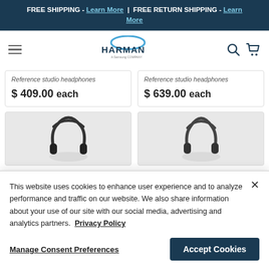FREE SHIPPING - Learn More  |  FREE RETURN SHIPPING - Learn More
[Figure (logo): Harman, a Samsung company logo]
Reference studio headphones
$ 409.00 each
Reference studio headphones
$ 639.00 each
[Figure (photo): Headphones product image left]
[Figure (photo): Headphones product image right]
This website uses cookies to enhance user experience and to analyze performance and traffic on our website. We also share information about your use of our site with our social media, advertising and analytics partners. Privacy Policy
Manage Consent Preferences
Accept Cookies